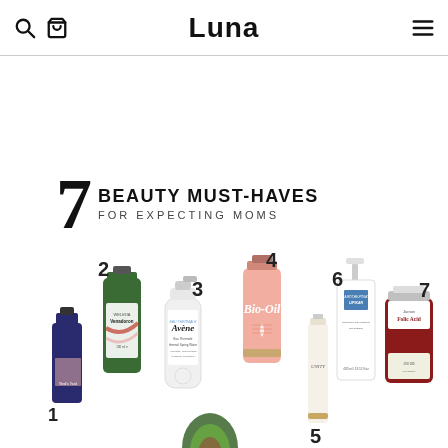Luna
7 BEAUTY MUST-HAVES FOR EXPECTING MOMS
[Figure (photo): Seven beauty products for expecting moms: numbered 1-7. Products include Neal's Yard Remedies (1), Weleda Venadoron (2), Avène Eau Thermale spray (3), Bio-Oil (4), Unity serum with avocado (5), La Roche-Posay LIPIKAR Baume AP+ (6), and Jarrow Folic Acid supplement (7).]